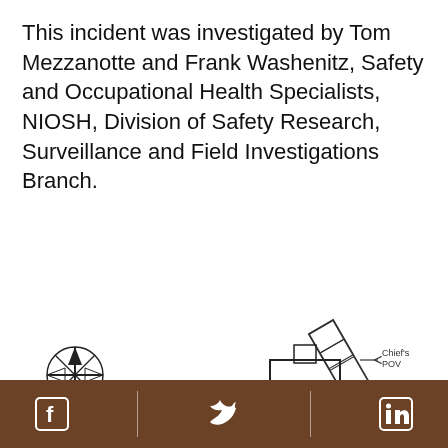This incident was investigated by Tom Mezzanotte and Frank Washenitz, Safety and Occupational Health Specialists, NIOSH, Division of Safety Research, Surveillance and Field Investigations Branch.
[Figure (engineering-diagram): Floor plan/site diagram showing a house with Kitchen, Enclosed Porch, Front Door areas, a figure near the front door, a compass rose, Chief's POV vehicle parked at upper right, and street elements with a fire truck on the right side. Distance marker '130'' is shown.]
Facebook | Twitter | LinkedIn social media icons